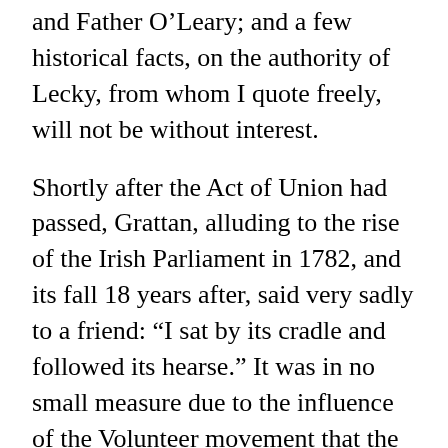and Father O’Leary; and a few historical facts, on the authority of Lecky, from whom I quote freely, will not be without interest.
Shortly after the Act of Union had passed, Grattan, alluding to the rise of the Irish Parliament in 1782, and its fall 18 years after, said very sadly to a friend: “I sat by its cradle and followed its hearse.” It was in no small measure due to the influence of the Volunteer movement that the Irish Parliament of 1782 had its origin. The Volunteers were first enrolled in 1778, when war broke out with France. In that year official news came that an invasion of Belfast by the French was imminent, and the